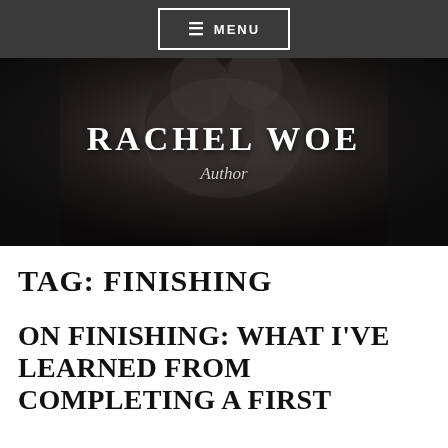≡ MENU
[Figure (photo): Black and white romantic/intimate photo of two people, with overlaid text 'RACHEL WOE' and 'Author']
RACHEL WOE
Author
TAG: FINISHING
ON FINISHING: WHAT I'VE LEARNED FROM COMPLETING A FIRST